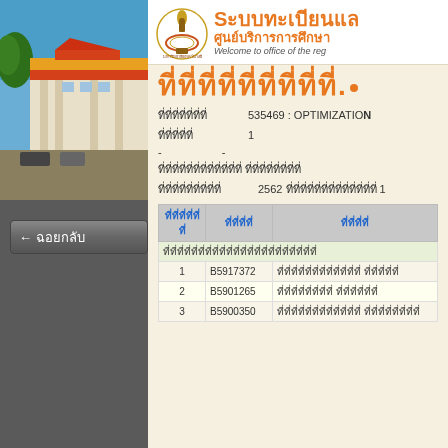[Figure (photo): Building/campus photo with orange and white roof structure against blue sky]
← ฉอยกลับ
[Figure (logo): Thai university emblem/seal logo]
ระบบทะเบียนแล
ศูนย์บริการการศึกษา
Welcome to office of the reg
ที่ที่ที่ที่ที่ที่ที่ที่ที่ที่.
ที่ที่ที่ที่ที่ที่ที่  535469 : OPTIMIZATION
ที่ที่ที่ที่ที่  1
-  -
ที่ที่ที่ที่ที่ที่ที่ที่ที่ที่ที่ที่ ที่ที่ที่ที่ที่ที่ที่ที่
ที่ที่ที่ที่ที่ที่ที่ที่ที่  2562 ที่ที่ที่ที่ที่ที่ที่ที่ที่ที่ที่ที่ที่ 1
| ที่ที่ที่ที่ที่ที่ | ที่ที่ที่ที่ | ที่ที่ที่ที่ |
| --- | --- | --- |
| ที่ที่ที่ที่ที่ที่ที่ที่ที่ที่ที่ที่ที่ที่ที่ที่ที่ที่ที่ที่ที่ |  |  |
| 1 | B5917372 | ที่ที่ที่ที่ที่ที่ที่ที่ที่ที่ที่ที่ ที่ที่ที่ที่ที่ |
| 2 | B5901265 | ที่ที่ที่ที่ที่ที่ที่ที่ ที่ที่ที่ที่ที่ที่ |
| 3 | B5900350 | ที่ที่ที่ที่ที่ที่ที่ที่ที่ที่ที่ที่ ที่ที่ที่ที่ที่ที่ที่ที่ |